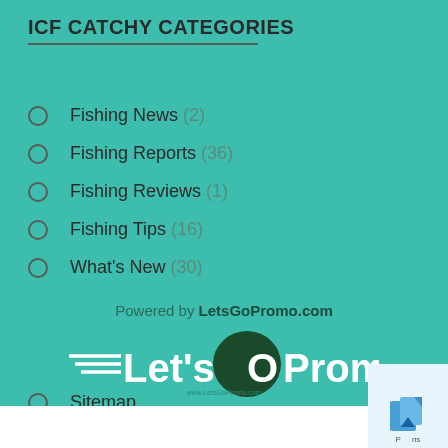ICF CATCHY CATEGORIES
Fishing News (2)
Fishing Reports (36)
Fishing Reviews (1)
Fishing Tips (16)
What's New (30)
Powered by LetsGoPromo.com
[Figure (logo): Let'sGOPromo logo with speed lines on left, white and dark green text on teal background, www.LetsGoPromo.com watermark]
Sitemap